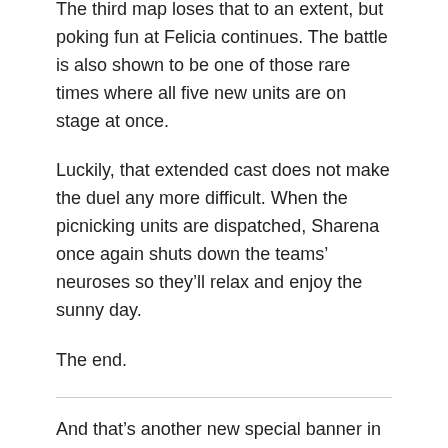The third map loses that to an extent, but poking fun at Felicia continues. The battle is also shown to be one of those rare times where all five new units are on stage at once.
Luckily, that extended cast does not make the duel any more difficult. When the picnicking units are dispatched, Sharena once again shuts down the teams’ neuroses so they’ll relax and enjoy the sunny day.
The end.
And that’s another new special banner in the books.
Overall I’m really not sure how to feel about this one. Having Echoes units like Genny is wonderful, but when she’s the least impressive on the banner that excitement is quickly deflated.